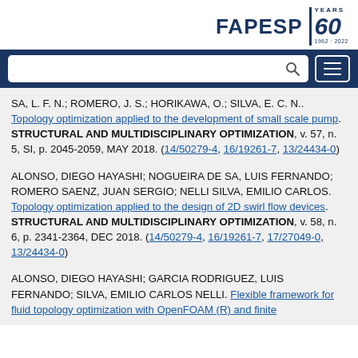FAPESP 60 YEARS 1962-2022
[Figure (logo): FAPESP 60 Years 1962-2022 logo]
SA, L. F. N.; ROMERO, J. S.; HORIKAWA, O.; SILVA, E. C. N.. Topology optimization applied to the development of small scale pump. STRUCTURAL AND MULTIDISCIPLINARY OPTIMIZATION, v. 57, n. 5, SI, p. 2045-2059, MAY 2018. (14/50279-4, 16/19261-7, 13/24434-0)
ALONSO, DIEGO HAYASHI; NOGUEIRA DE SA, LUIS FERNANDO; ROMERO SAENZ, JUAN SERGIO; NELLI SILVA, EMILIO CARLOS. Topology optimization applied to the design of 2D swirl flow devices. STRUCTURAL AND MULTIDISCIPLINARY OPTIMIZATION, v. 58, n. 6, p. 2341-2364, DEC 2018. (14/50279-4, 16/19261-7, 17/27049-0, 13/24434-0)
ALONSO, DIEGO HAYASHI; GARCIA RODRIGUEZ, LUIS FERNANDO; SILVA, EMILIO CARLOS NELLI. Flexible framework for fluid topology optimization with OpenFOAM (R) and finite